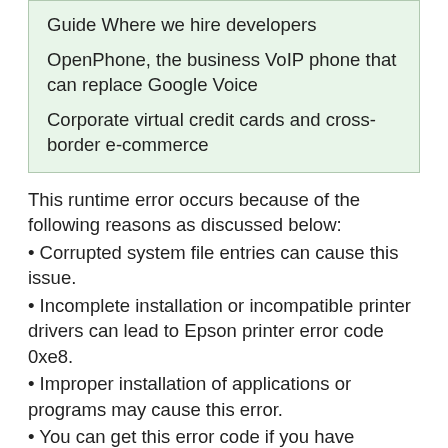Guide Where we hire developers
OpenPhone, the business VoIP phone that can replace Google Voice
Corporate virtual credit cards and cross-border e-commerce
This runtime error occurs because of the following reasons as discussed below:
• Corrupted system file entries can cause this issue.
• Incomplete installation or incompatible printer drivers can lead to Epson printer error code 0xe8.
• Improper installation of applications or programs may cause this error.
• You can get this error code if you have recently recovered your PC from a virus, adware or spyware attack.
• Epson error code 0xe8 occasionally occurs due to an accidental shutdown of your PC.
• Your computer can display this error due to a corrupted